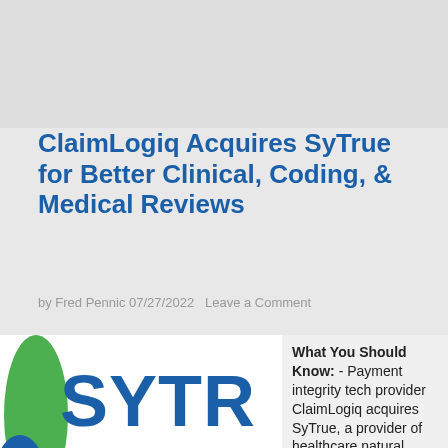ClaimLogiq Acquires SyTrue for Better Clinical, Coding, & Medical Reviews
by Fred Pennic 07/27/2022   Leave a Comment
[Figure (logo): SyTrue logo with text 'SYTR' in blue and 'Data Driven H' in green, with a green and blue teardrop icon on the left. Infolinks badge at bottom left.]
What You Should Know: - Payment integrity tech provider ClaimLogiq acquires SyTrue, a provider of healthcare natural language processing (NLP)
[Figure (photo): Advertisement showing NFL gear with Patriots jersey image. Text: Official NFL Gear, Get Your Favorite Team's Gear Here, www.nflshop.com]